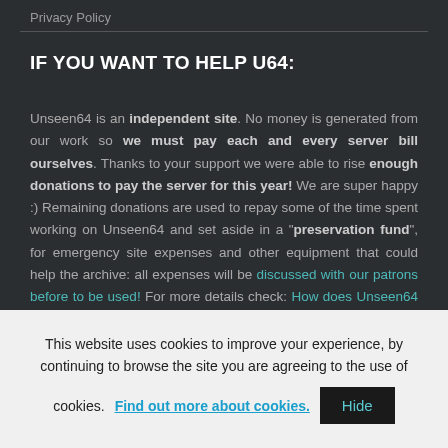Privacy Policy
IF YOU WANT TO HELP U64:
Unseen64 is an independent site. No money is generated from our work so we must pay each and every server bill ourselves. Thanks to your support we were able to rise enough donations to pay the server for this year! We are super happy :) Remaining donations are used to repay some of the time spent working on Unseen64 and set aside in a "preservation fund", for emergency site expenses and other equipment that could help the archive: all expenses will be discussed with our patrons before to be used! For more details check: How does Unseen64 use
This website uses cookies to improve your experience, by continuing to browse the site you are agreeing to the use of cookies. Find out more about cookies.